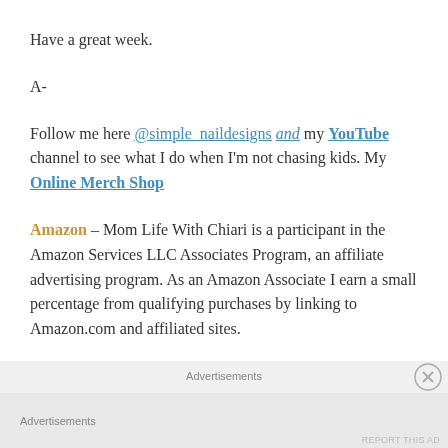Have a great week.
A-
Follow me here @simple_naildesigns and my YouTube channel to see what I do when I'm not chasing kids. My Online Merch Shop
Amazon – Mom Life With Chiari is a participant in the Amazon Services LLC Associates Program, an affiliate advertising program. As an Amazon Associate I earn a small percentage from qualifying purchases by linking to Amazon.com and affiliated sites.
Advertisements
Advertisements